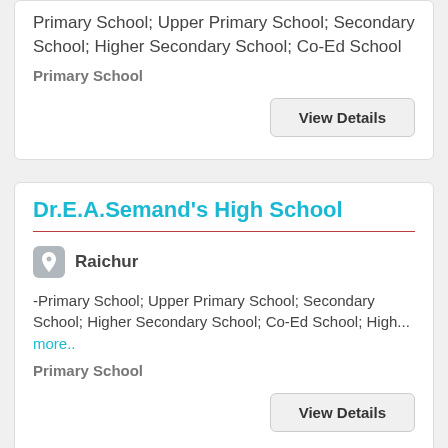Primary School; Upper Primary School; Secondary School; Higher Secondary School; Co-Ed School
Primary School
View Details
Dr.E.A.Semand's High School
Raichur
-Primary School; Upper Primary School; Secondary School; Higher Secondary School; Co-Ed School; High... more..
Primary School
View Details